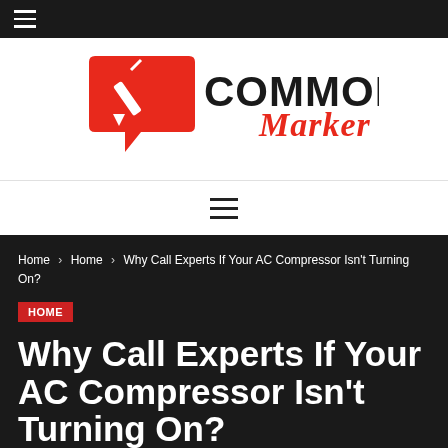Commons Marker logo
[Figure (logo): Commons Marker logo: red speech bubble with pen icon and text COMMONS Marker in black and red]
Home > Home > Why Call Experts If Your AC Compressor Isn't Turning On?
HOME
Why Call Experts If Your AC Compressor Isn't Turning On?